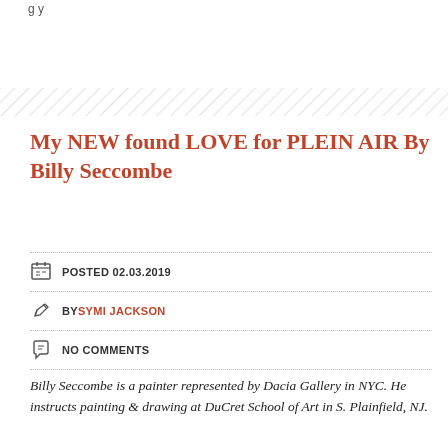g y
[Figure (other): Hatched/diagonal stripe decorative bar]
My NEW found LOVE for PLEIN AIR By Billy Seccombe
POSTED 02.03.2019
BY SYMI JACKSON
NO COMMENTS
Billy Seccombe is a painter represented by Dacia Gallery in NYC. He instructs painting & drawing at DuCret School of Art in S. Plainfield, NJ.